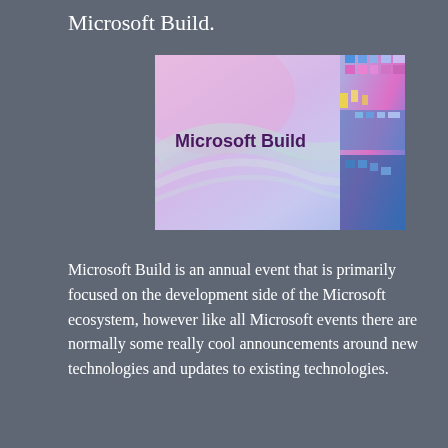Microsoft Build.
[Figure (photo): Microsoft Build promotional image with colorful abstract fiber optic / technology visual on a light pink/purple background, with 'Microsoft Build' text in dark purple on the left side.]
Microsoft Build is an annual event that is primarily focused on the development side of the Microsoft ecosystem, however like all Microsoft events there are normally some really cool announcements around new technologies and updates to existing technologies.